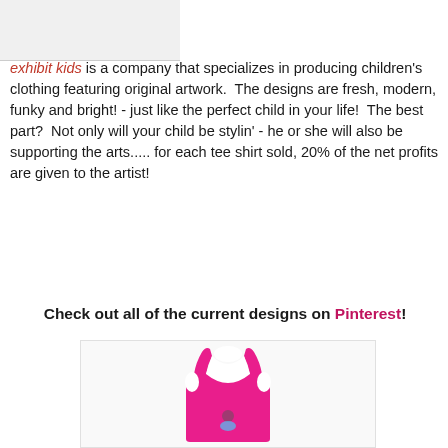[Figure (photo): Top portion of a white children's t-shirt or garment, cropped at top of page]
exhibit kids is a company that specializes in producing children's clothing featuring original artwork. The designs are fresh, modern, funky and bright! - just like the perfect child in your life! The best part? Not only will your child be stylin' - he or she will also be supporting the arts..... for each tee shirt sold, 20% of the net profits are given to the artist!
Check out all of the current designs on Pinterest!
[Figure (photo): A hot pink children's racerback tank top with a small graphic design near the bottom center]